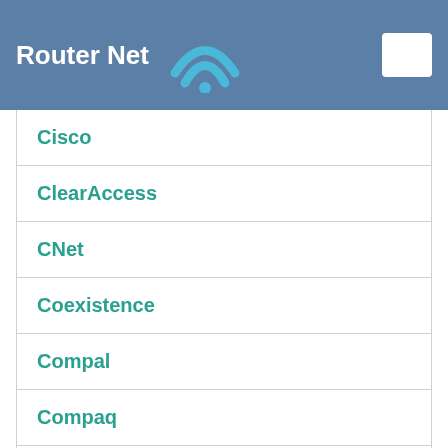Router Net
Cisco
ClearAccess
CNet
Coexistence
Compal
Compaq
CompUSA
Comptrend
Conceptronic
Connected IO
Connectland